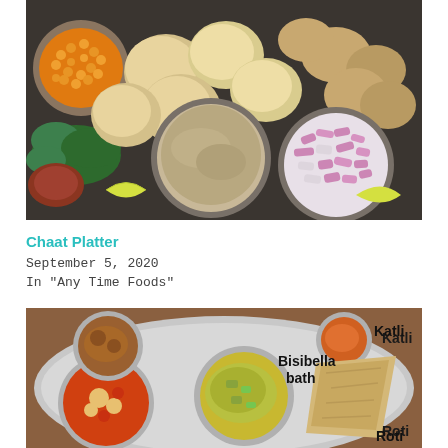[Figure (photo): Overhead photo of a chaat platter with puri balls, chopped red onions in a steel bowl, brown spice powder in a bowl, orange chickpeas in a bowl, green coriander, and lemon wedges on a dark slate surface.]
Chaat Platter
September 5, 2020
In "Any Time Foods"
[Figure (photo): Photo of an Indian thali (platter) with multiple steel bowls containing various dishes including Bisibella bath, Roti/Katli, vegetable curry, and other items, with text labels overlaid: Bisibella bath, Katli, Roti.]